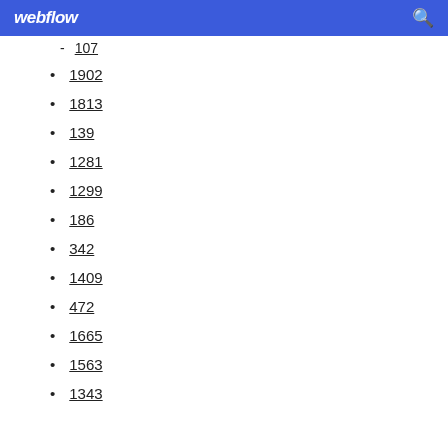webflow
107
1902
1813
139
1281
1299
186
342
1409
472
1665
1563
1343